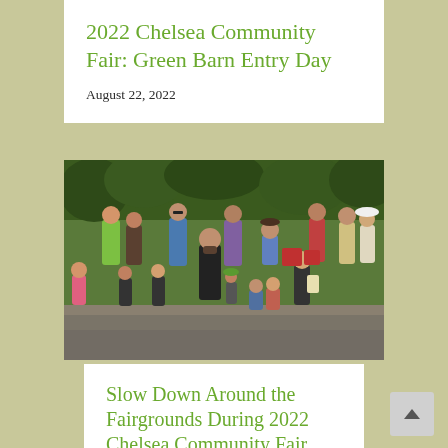2022 Chelsea Community Fair: Green Barn Entry Day
August 22, 2022
[Figure (photo): Outdoor crowd scene at a community fair, with adults and children gathered along a path. Children are in the foreground, some sitting and playing, while adults stand in the background watching.]
Slow Down Around the Fairgrounds During 2022 Chelsea Community Fair